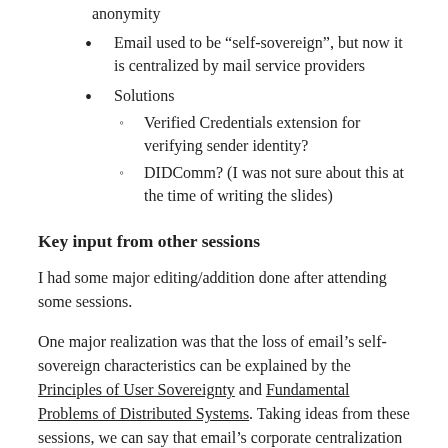anonymity
Email used to be “self-sovereign”, but now it is centralized by mail service providers
Solutions
Verified Credentials extension for verifying sender identity?
DIDComm? (I was not sure about this at the time of writing the slides)
Key input from other sessions
I had some major editing/addition done after attending some sessions.
One major realization was that the loss of email’s self-sovereign characteristics can be explained by the Principles of User Sovereignty and Fundamental Problems of Distributed Systems. Taking ideas from these sessions, we can say that email’s corporate centralization as we see now was inevitable because